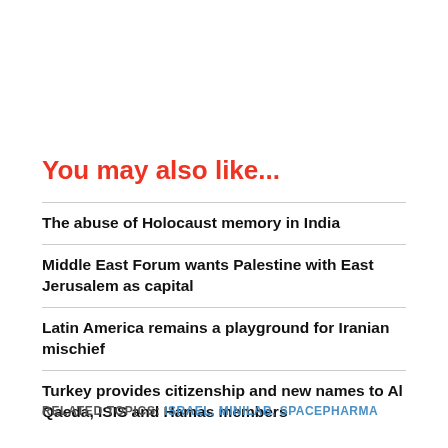You may also like...
The abuse of Holocaust memory in India
Middle East Forum wants Palestine with East Jerusalem as capital
Latin America remains a playground for Iranian mischief
Turkey provides citizenship and new names to Al Qaeda, ISIS and Hamas members
RELATED TOPICS: ISRAEL, MINILAB, SPACEPHARMA